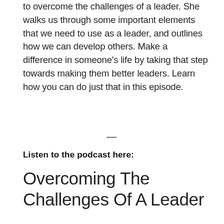to overcome the challenges of a leader. She walks us through some important elements that we need to use as a leader, and outlines how we can develop others. Make a difference in someone's life by taking that step towards making them better leaders. Learn how you can do just that in this episode.
—
Listen to the podcast here:
Overcoming The Challenges Of A Leader